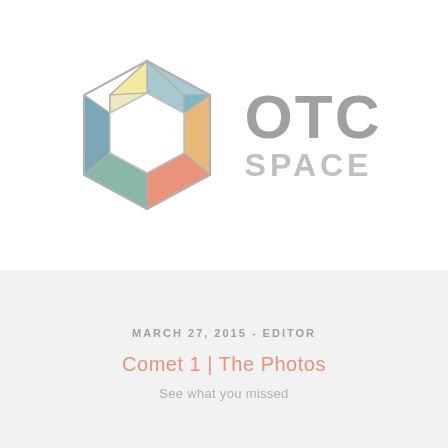[Figure (logo): OTC Space logo — a hexagonal geometric shape made of colored triangular segments (light yellow, blue-gray, teal, cream, orange, salmon/coral, sage green) arranged around a white hexagon center, beside bold gray text 'OTC' and lighter gray 'SPACE']
MARCH 27, 2015 - EDITOR
Comet 1 | The Photos
See what you missed